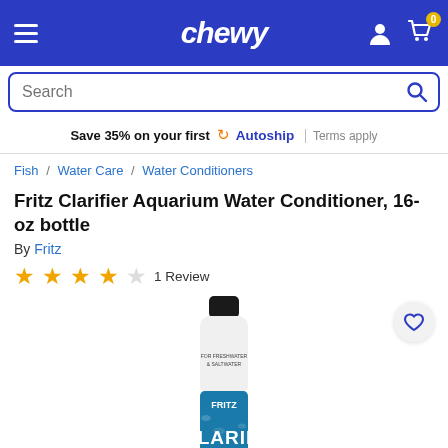chewy
Save 35% on your first Autoship | Terms apply
Fish / Water Care / Water Conditioners
Fritz Clarifier Aquarium Water Conditioner, 16-oz bottle
By Fritz
4 stars — 1 Review
[Figure (photo): Fritz Clarifier Aquarium Water Conditioner 16-oz bottle product photo — white bottle with black cap and teal/blue label showing FRITZ CLARIFIER branding with fish imagery. Text on bottle reads FOR FRESHWATER & SALTWATER.]